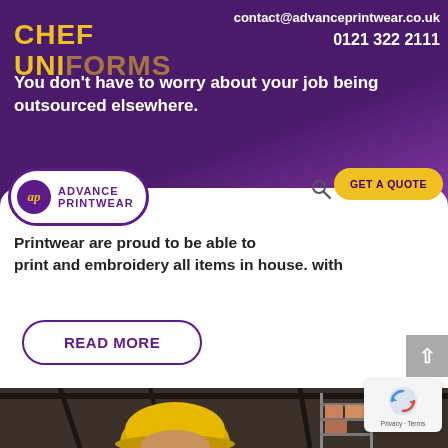contact@advanceprintwear.co.uk
0121 322 2111
CHEF UNIFORMS
You don't have to worry about your job being outsourced elsewhere.
[Figure (logo): Advance Printwear logo: purple circle with 'ap' in gold italic text, beside 'ADVANCE PRINTWEAR' in purple bold text, inside a white pill shape with purple border]
Printwear are proud to be able to print and embroidery all items in house. with
READ MORE
[Figure (photo): Worker wearing a yellow hard hat in a warehouse setting with shelving and structural beams in the background]